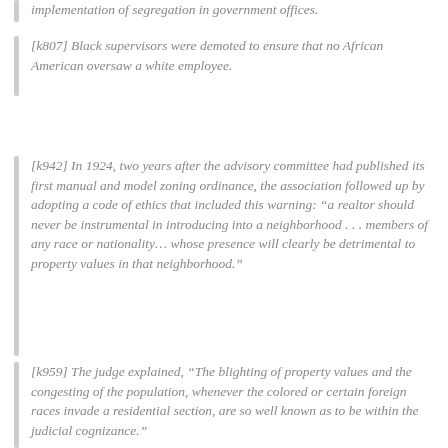[k807] Black supervisors were demoted to ensure that no African American oversaw a white employee.
[k942] In 1924, two years after the advisory committee had published its first manual and model zoning ordinance, the association followed up by adopting a code of ethics that included this warning: “a realtor should never be instrumental in introducing into a neighborhood . . . members of any race or nationality… whose presence will clearly be detrimental to property values in that neighborhood.”
[k959] The judge explained, “The blighting of property values and the congesting of the population, whenever the colored or certain foreign races invade a residential section, are so well known as to be within the judicial cognizance.”